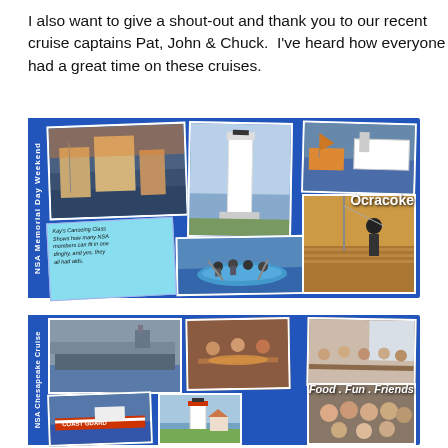I also want to give a shout-out and thank you to our recent cruise captains Pat, John & Chuck.  I've heard how everyone had a great time on these cruises.
[Figure (photo): NSA Memorial Day Weekend collage with multiple photos: waterfront buildings at sunset, a lighthouse, boats at marina, people in a dinghy on water, a person on a dock, and text label 'Ocracoke'. Vertical label 'NSA Memorial Day Weekend' on left side. A note reads: Kay's Canoeing Class Shows how many NSA members can fit in one dinghy, and yes, they all had aids.]
[Figure (photo): NSA Chesapeake Cruise collage with multiple photos: aircraft carrier on water, people dining together indoors, people seated at restaurant table, a Coast Guard boat, a lighthouse, and a group selfie photo. Text labels 'Food . Fun . Friends'. Vertical label 'NSA Chesapeake Cruise' on left side.]